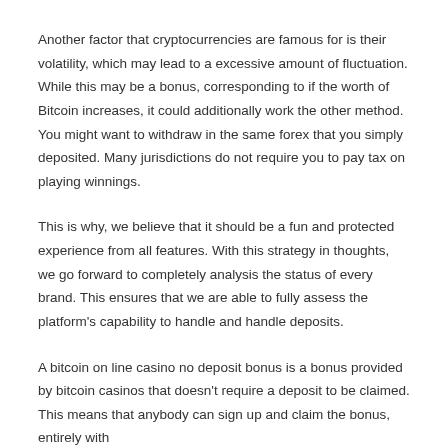Another factor that cryptocurrencies are famous for is their volatility, which may lead to a excessive amount of fluctuation. While this may be a bonus, corresponding to if the worth of Bitcoin increases, it could additionally work the other method. You might want to withdraw in the same forex that you simply deposited. Many jurisdictions do not require you to pay tax on playing winnings.
This is why, we believe that it should be a fun and protected experience from all features. With this strategy in thoughts, we go forward to completely analysis the status of every brand. This ensures that we are able to fully assess the platform's capability to handle and handle deposits.
A bitcoin on line casino no deposit bonus is a bonus provided by bitcoin casinos that doesn't require a deposit to be claimed. This means that anybody can sign up and claim the bonus, entirely with